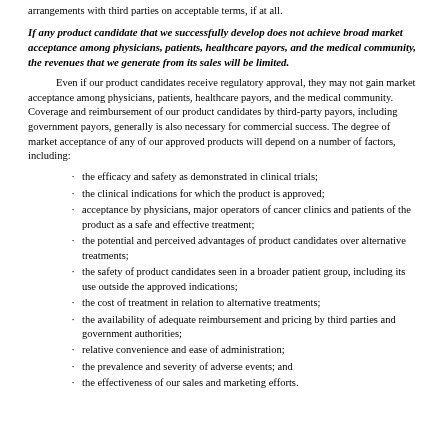arrangements with third parties on acceptable terms, if at all.
If any product candidate that we successfully develop does not achieve broad market acceptance among physicians, patients, healthcare payors, and the medical community, the revenues that we generate from its sales will be limited.
Even if our product candidates receive regulatory approval, they may not gain market acceptance among physicians, patients, healthcare payors, and the medical community. Coverage and reimbursement of our product candidates by third-party payors, including government payors, generally is also necessary for commercial success. The degree of market acceptance of any of our approved products will depend on a number of factors, including:
the efficacy and safety as demonstrated in clinical trials;
the clinical indications for which the product is approved;
acceptance by physicians, major operators of cancer clinics and patients of the product as a safe and effective treatment;
the potential and perceived advantages of product candidates over alternative treatments;
the safety of product candidates seen in a broader patient group, including its use outside the approved indications;
the cost of treatment in relation to alternative treatments;
the availability of adequate reimbursement and pricing by third parties and government authorities;
relative convenience and ease of administration;
the prevalence and severity of adverse events; and
the effectiveness of our sales and marketing efforts.